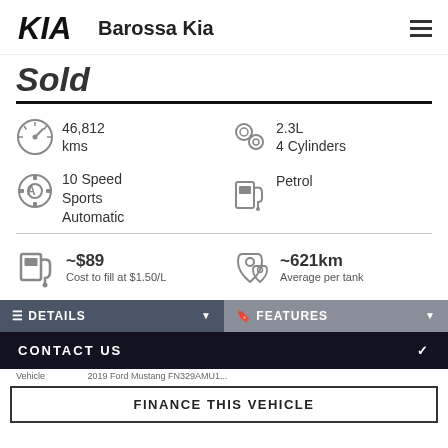Barossa Kia
Sold
46,812 kms
2.3L 4 Cylinders
10 Speed Sports Automatic
Petrol
~$89 Cost to fill at $1.50/L
~621km Average per tank
DETAILS
FEATURES
CONTACT US
FINANCE THIS VEHICLE